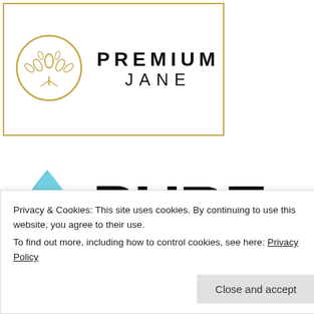[Figure (logo): Premium Jane logo: golden circle with floral motif icon on left, text PREMIUM JANE on right, all inside a gold-bordered rectangle]
[Figure (logo): PureKana logo: blue water drop with circular eye icon on left, large bold text PURE on right, KANA spelled out below]
Categories
Arduino  ARM microcontrollers  Artificial intelligence
Privacy & Cookies: This site uses cookies. By continuing to use this website, you agree to their use.
To find out more, including how to control cookies, see here: Privacy Policy
Close and accept